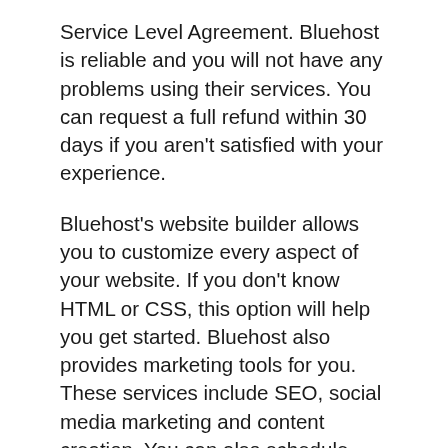Service Level Agreement. Bluehost is reliable and you will not have any problems using their services. You can request a full refund within 30 days if you aren't satisfied with your experience.
Bluehost's website builder allows you to customize every aspect of your website. If you don't know HTML or CSS, this option will help you get started. Bluehost also provides marketing tools for you. These services include SEO, social media marketing and content creation. You can also schedule monthly consultations with their marketing experts to monitor the progress of your website. Bluehost's marketing team will also measure the ROI on their services.